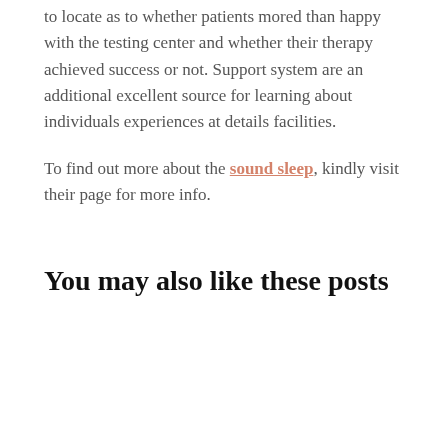to locate as to whether patients mored than happy with the testing center and whether their therapy achieved success or not. Support system are an additional excellent source for learning about individuals experiences at details facilities.
To find out more about the sound sleep, kindly visit their page for more info.
You may also like these posts